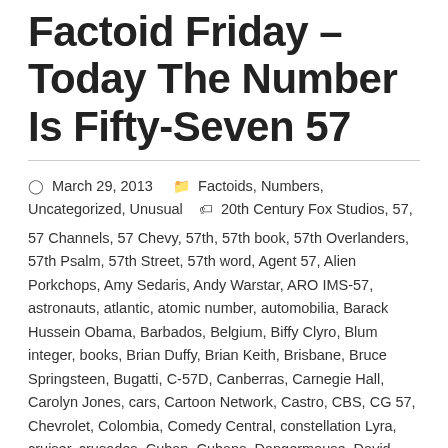Factoid Friday – Today The Number Is Fifty-Seven 57
March 29, 2013   Factoids, Numbers, Uncategorized, Unusual
20th Century Fox Studios, 57, 57 Channels, 57 Chevy, 57th, 57th book, 57th Overlanders, 57th Psalm, 57th Street, 57th word, Agent 57, Alien Porkchops, Amy Sedaris, Andy Warstar, ARO IMS-57, astronauts, atlantic, atomic number, automobilia, Barack Hussein Obama, Barbados, Belgium, Biffy Clyro, Blum integer, books, Brian Duffy, Brian Keith, Brisbane, Bruce Springsteen, Bugatti, C-57D, Canberras, Carnegie Hall, Carolyn Jones, cars, Cartoon Network, Castro, CBS, CG 57, Chevrolet, Colombia, Comedy Central, constellation Lyra, cruiser, crusades, Cuban, Cubans, Dangermouse, David, disk jockeys, Douglas B-26, E Street Band, education, English Electric Canberra, Entertainment, Eraser, EURECA, European Retrievable Carrier, Exit 57, Fabulous 57,